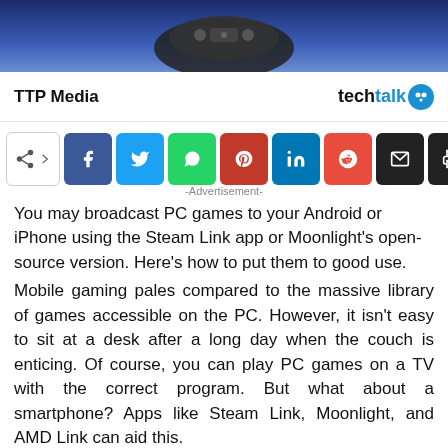[Figure (photo): Top banner with a gaming controller/device against a dark blue gradient background]
TTP Media   techtalk
[Figure (infographic): Social media share buttons row: share icon, Facebook, Twitter, WhatsApp, Pinterest, LinkedIn, Reddit, Email, Print]
-Advertisement-
You may broadcast PC games to your Android or iPhone using the Steam Link app or Moonlight's open-source version. Here's how to put them to good use.
Mobile gaming pales compared to the massive library of games accessible on the PC. However, it isn't easy to sit at a desk after a long day when the couch is enticing. Of course, you can play PC games on a TV with the correct program. But what about a smartphone? Apps like Steam Link, Moonlight, and AMD Link can aid this.
With all of these alternatives, you must make a decision